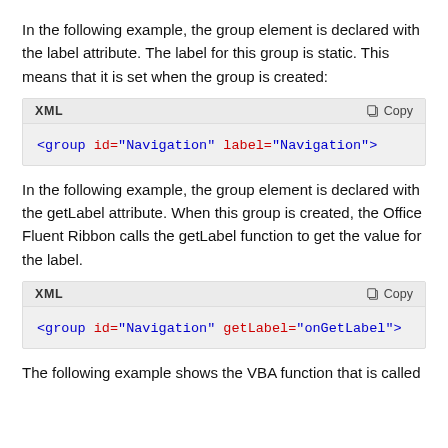In the following example, the group element is declared with the label attribute. The label for this group is static. This means that it is set when the group is created:
XML  Copy
<group id="Navigation" label="Navigation">
In the following example, the group element is declared with the getLabel attribute. When this group is created, the Office Fluent Ribbon calls the getLabel function to get the value for the label.
XML  Copy
<group id="Navigation" getLabel="onGetLabel">
The following example shows the VBA function that is called